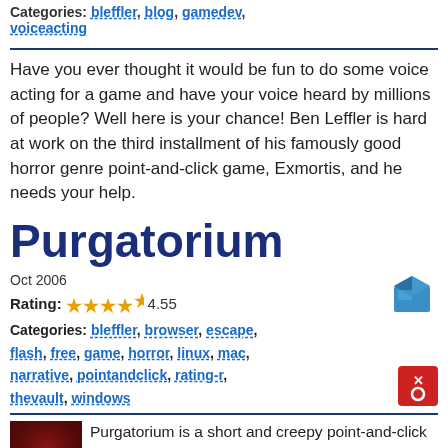Categories: bleffler, blog, gamedev, voiceacting
Have you ever thought it would be fun to do some voice acting for a game and have your voice heard by millions of people? Well here is your chance! Ben Leffler is hard at work on the third installment of his famously good horror genre point-and-click game, Exmortis, and he needs your help.
Purgatorium
Oct 2006
Rating: 4.55
Categories: bleffler, browser, escape, flash, free, game, horror, linux, mac, narrative, pointandclick, rating-r, thevault, windows
[Figure (illustration): Blue 3D box/package icon]
[Figure (illustration): Red square icon with X and circle symbols]
[Figure (illustration): Thumbnail image of Purgatorium game with dark red background and white PURGATORIUM text]
Purgatorium is a short and creepy point-and-click escape-the-room game with some rather horrific graphic visuals nestled inside. If you have played either of Ben's other horror-genre interactive narratives, Exmortis and Exmortis 2, then you may already know what